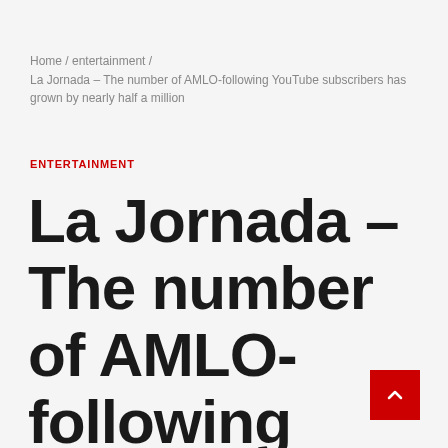Home / entertainment / La Jornada – The number of AMLO-following YouTube subscribers has grown by nearly half a million
ENTERTAINMENT
La Jornada – The number of AMLO-following YouTube subscribers has